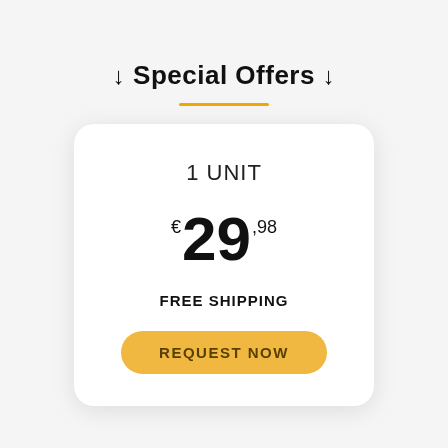↓ Special Offers ↓
1 UNIT
€29,98
FREE SHIPPING
REQUEST NOW